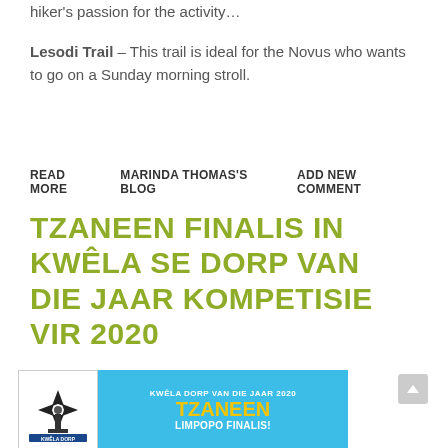hiker's passion for the activity…
Lesodi Trail – This trail is ideal for the Novus who wants to go on a Sunday morning stroll.
READ MORE
MARINDA THOMAS'S BLOG
ADD NEW COMMENT
TZANEEN FINALIS IN KWÊLA SE DORP VAN DIE JAAR KOMPETISIE VIR 2020
[Figure (illustration): Kwêla Dorp van die Jaar 2020 banner showing Tzaneen Limpopo Finalis with fruit imagery and a windmill logo on the left]